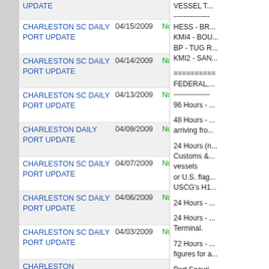CHARLESTON SC DAILY PORT UPDATE | 04/15/2009 | Normal
CHARLESTON SC DAILY PORT UPDATE | 04/14/2009 | Normal
CHARLESTON SC DAILY PORT UPDATE | 04/13/2009 | Normal
CHARLESTON DAILY PORT UPDATE | 04/09/2009 | Normal
CHARLESTON SC DAILY PORT UPDATE | 04/07/2009 | Normal
CHARLESTON SC DAILY PORT UPDATE | 04/06/2009 | Normal
CHARLESTON SC DAILY PORT UPDATE | 04/03/2009 | Normal
CHARLESTON (partial, cut off)
VESSEL T...
--------------
HESS - BR...
KMI4 - BOU...
BP - TUG R...
KMI2 - SAN...
==========
FEDERAL,...
--------------
96 Hours - ...
48 Hours - ... arriving fro...
24 Hours (n... Customs & ... vessels
or U.S. flag...
USCG's H1...
24 Hours - ...
24 Hours - ... Terminal.
72 Hours - ... figures for a...
Port Securi...